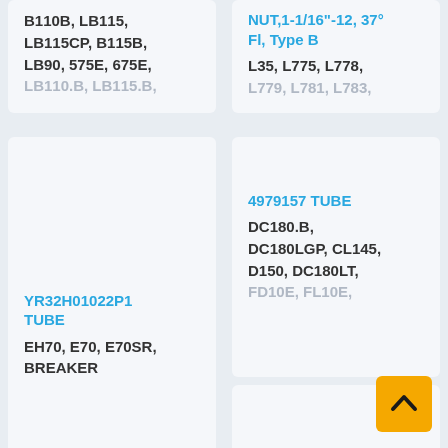B110B, LB115, LB115CP, B115B, LB90, 575E, 675E,
LB110.B, LB115.B,
NUT,1-1/16"-12, 37° Fl, Type B
L35, L775, L778, L779, L781, L783,
4979157 TUBE
DC180.B, DC180LGP, CL145, D150, DC180LT,
FD10E, FL10E,
YR32H01022P1 TUBE
EH70, E70, E70SR, BREAKER